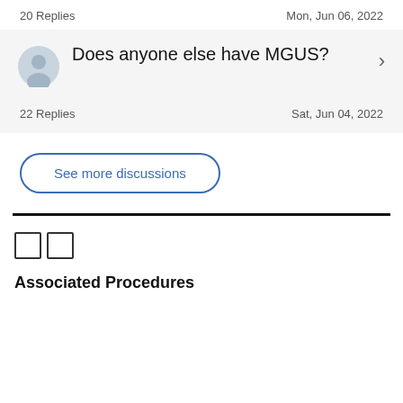20 Replies    Mon, Jun 06, 2022
Does anyone else have MGUS?
22 Replies    Sat, Jun 04, 2022
See more discussions
Associated Procedures